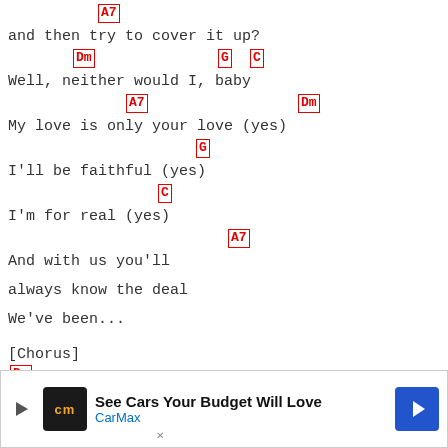A7 (chord)
and then try to cover it up?
Dm  G  C (chords)
Well, neither would I, baby
A7   Dm (chords)
My love is only your love (yes)
G (chord)
I'll be faithful (yes)
C (chord)
I'm for real (yes)
A7 (chord)
And with us you'll
always know the deal
We've been...
[Chorus]
Dm (chord)
Too str...
G (chord)
[Figure (other): CarMax advertisement overlay: 'See Cars Your Budget Will Love' with CarMax branding and navigation arrow icon]